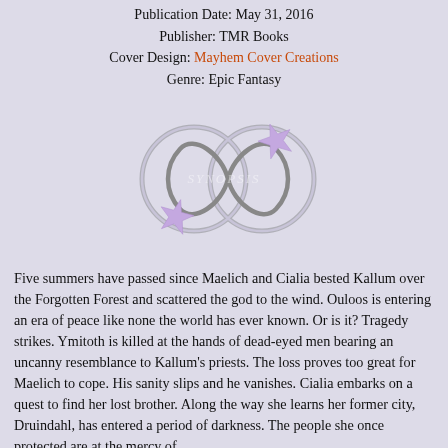Publication Date: May 31, 2016
Publisher: TMR Books
Cover Design: Mayhem Cover Creations
Genre: Epic Fantasy
[Figure (illustration): Infinity symbol made of two silver rings with purple star-burst decorations at the crossing points, watermarked with 'SYNOPSIS' text in the center]
Five summers have passed since Maelich and Cialia bested Kallum over the Forgotten Forest and scattered the god to the wind. Ouloos is entering an era of peace like none the world has ever known. Or is it? Tragedy strikes. Ymitoth is killed at the hands of dead-eyed men bearing an uncanny resemblance to Kallum's priests. The loss proves too great for Maelich to cope. His sanity slips and he vanishes. Cialia embarks on a quest to find her lost brother. Along the way she learns her former city, Druindahl, has entered a period of darkness. The people she once protected are at the mercy of